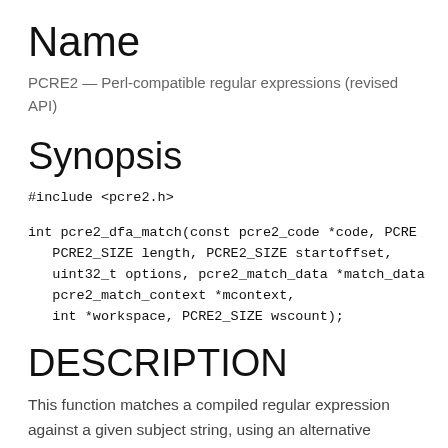Name
PCRE2 — Perl-compatible regular expressions (revised API)
Synopsis
DESCRIPTION
This function matches a compiled regular expression against a given subject string, using an alternative matching algorithm that scans the subject string just